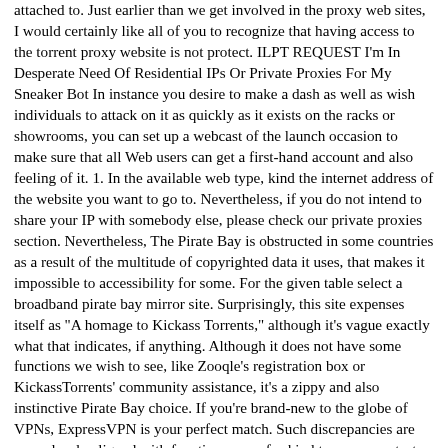attached to. Just earlier than we get involved in the proxy web sites, I would certainly like all of you to recognize that having access to the torrent proxy website is not protect. ILPT REQUEST I'm In Desperate Need Of Residential IPs Or Private Proxies For My Sneaker Bot In instance you desire to make a dash as well as wish individuals to attack on it as quickly as it exists on the racks or showrooms, you can set up a webcast of the launch occasion to make sure that all Web users can get a first-hand account and also feeling of it. 1. In the available web type, kind the internet address of the website you want to go to. Nevertheless, if you do not intend to share your IP with somebody else, please check our private proxies section. Nevertheless, The Pirate Bay is obstructed in some countries as a result of the multitude of copyrighted data it uses, that makes it impossible to accessibility for some. For the given table select a broadband pirate bay mirror site. Surprisingly, this site expenses itself as "A homage to Kickass Torrents," although it's vague exactly what that indicates, if anything. Although it does not have some functions we wish to see, like Zooqle's registration box or KickassTorrents' community assistance, it's a zippy and also instinctive Pirate Bay choice. If you're brand-new to the globe of VPNs, ExpressVPN is your perfect match. Such discrepancies are very closely aligned with functions one-of-a-kind to proxy contests, such as the record dates and election condition, as well as are extra noticable when the exclusive advantages are higher or when the Thu, 09 Sep 2021 02:13:30 UTC en